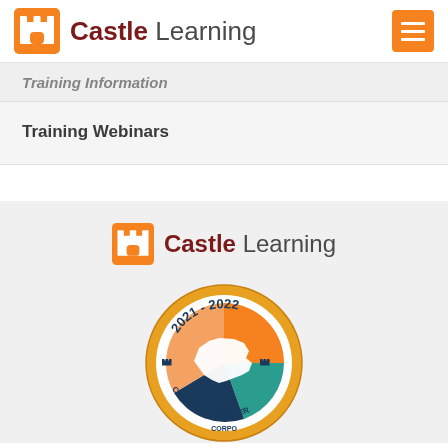Castle Learning
Training Information
Training Webinars
[Figure (logo): Castle Learning logo with castle tower icon in orange and text 'Castle Learning']
[Figure (illustration): 2021-2022 Corporate Member badge with New York state silhouette and colorful pie chart design]